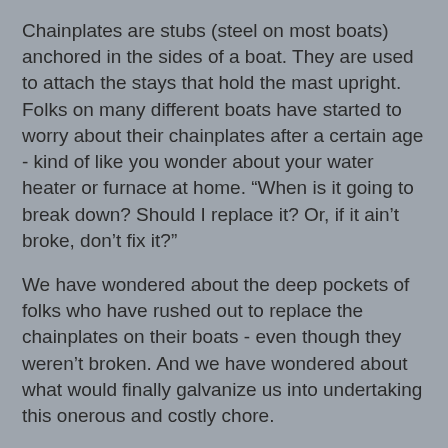Chainplates are stubs (steel on most boats) anchored in the sides of a boat.  They are used to attach the stays that hold the mast upright.  Folks on many different boats have started to worry about their chainplates after a certain age - kind of like you wonder about your water heater or furnace at home.  "When is it going to break down?  Should I replace it?  Or, if it ain't broke, don't fix it?"
We have wondered about the deep pockets of folks who have rushed out to replace the chainplates on their boats - even though they weren't broken.  And we have wondered about what would finally galvanize us into undertaking this onerous and costly chore.
So, good news!  We just found out!  Two of our chainplates broke on a particularly nasty transit between Les Saintes and Portsmouth, Dominica.
We were in 15 to 20 knot breezes with big reefs in main and jib.  The seas were 4 to 6 feet but spaced impossibly close so we were slamming into wave after wave.  We watched